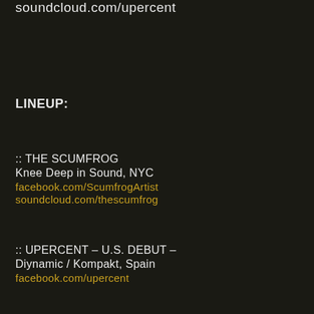soundcloud.com/upercent
LINEUP:
:: THE SCUMFROG
Knee Deep in Sound, NYC
facebook.com/ScumfrogArtist
soundcloud.com/thescumfrog
:: UPERCENT – U.S. DEBUT –
Diynamic / Kompakt, Spain
facebook.com/upercent